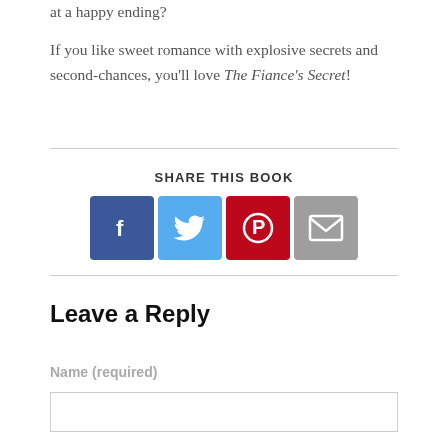at a happy ending?
If you like sweet romance with explosive secrets and second-chances, you'll love The Fiance's Secret!
SHARE THIS BOOK
[Figure (infographic): Four social share buttons: Facebook (dark blue with f icon), Twitter (light blue with bird icon), Pinterest (red with P icon), Email (gray with envelope icon)]
Leave a Reply
Name (required)